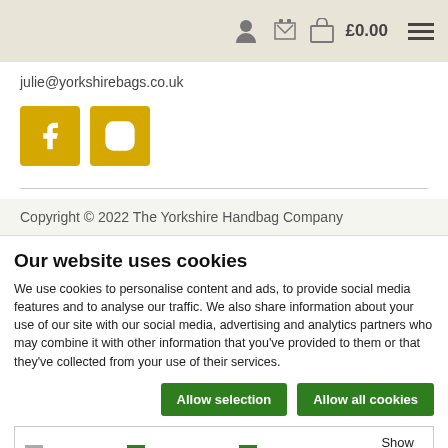£0.00
julie@yorkshirebags.co.uk
[Figure (other): Social media icons: Facebook and Instagram buttons in yellow/gold]
Copyright © 2022 The Yorkshire Handbag Company
Our website uses cookies
We use cookies to personalise content and ads, to provide social media features and to analyse our traffic. We also share information about your use of our site with our social media, advertising and analytics partners who may combine it with other information that you've provided to them or that they've collected from your use of their services.
Allow selection | Allow all cookies
Necessary  Preferences  Statistics  Marketing  Show details